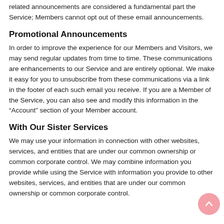related announcements are considered a fundamental part the Service; Members cannot opt out of these email announcements.
Promotional Announcements
In order to improve the experience for our Members and Visitors, we may send regular updates from time to time. These communications are enhancements to our Service and are entirely optional. We make it easy for you to unsubscribe from these communications via a link in the footer of each such email you receive. If you are a Member of the Service, you can also see and modify this information in the “Account” section of your Member account.
With Our Sister Services
We may use your information in connection with other websites, services, and entities that are under our common ownership or common corporate control. We may combine information you provide while using the Service with information you provide to other websites, services, and entities that are under our common ownership or common corporate control.